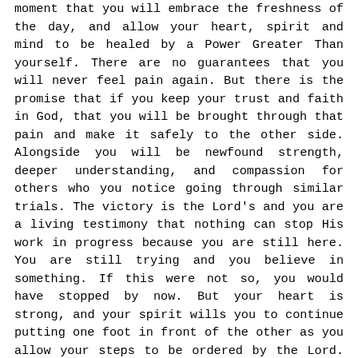moment that you will embrace the freshness of the day, and allow your heart, spirit and mind to be healed by a Power Greater Than yourself. There are no guarantees that you will never feel pain again. But there is the promise that if you keep your trust and faith in God, that you will be brought through that pain and make it safely to the other side. Alongside you will be newfound strength, deeper understanding, and compassion for others who you notice going through similar trials. The victory is the Lord's and you are a living testimony that nothing can stop His work in progress because you are still here. You are still trying and you believe in something. If this were not so, you would have stopped by now. But your heart is strong, and your spirit wills you to continue putting one foot in front of the other as you allow your steps to be ordered by the Lord. In whatever way you perceive your Higher Power, and however you draw strength from Its love is more important than what others tell you to believe. At the end of the day, as it was in the beginning, it is YOUR relationship with your Creator. And